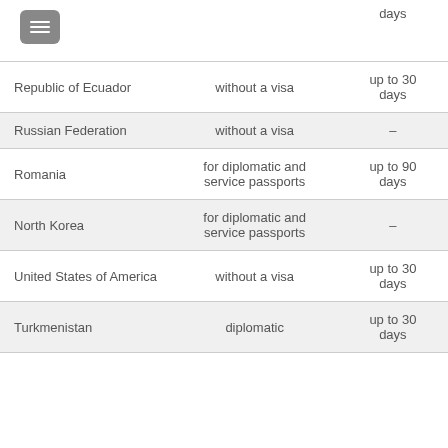| Country | Entry condition | Duration |
| --- | --- | --- |
|  |  | days |
| Republic of Ecuador | without a visa | up to 30 days |
| Russian Federation | without a visa | - |
| Romania | for diplomatic and service passports | up to 90 days |
| North Korea | for diplomatic and service passports | - |
| United States of America | without a visa | up to 30 days |
| Turkmenistan | diplomatic | up to 30 days |